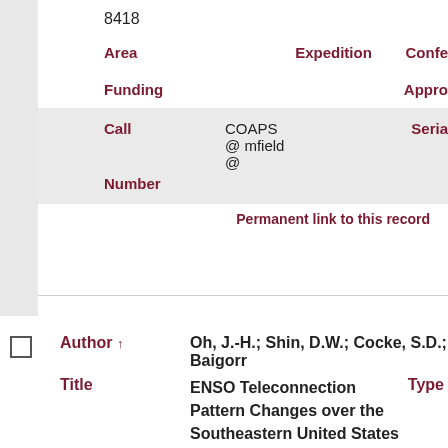8418
|  | Area | Expedition | Confe... | Funding | Appro... |
| --- | --- | --- | --- | --- | --- |
|  | Call Number | COAPS @ mfield @ | Seria... |
Permanent link to this record
| Author ↑ | Title | Type |
| --- | --- | --- |
| Oh, J.-H.; Shin, D.W.; Cocke, S.D.; Baigorr... | ENSO Teleconnection Pattern Changes over the Southeastern United States under a Climate Change Scenario in CMIP5 Models |  |